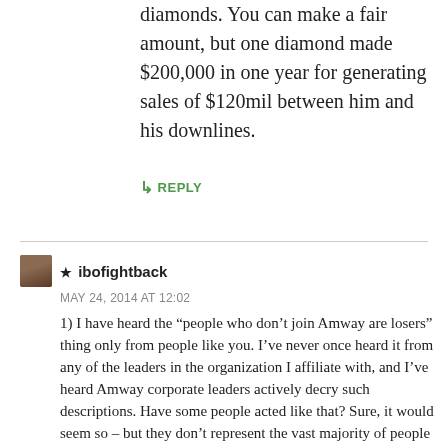diamonds. You can make a fair amount, but one diamond made $200,000 in one year for generating sales of $120mil between him and his downlines.
↳ REPLY
★ ibofightback
MAY 24, 2014 AT 12:02
1) I have heard the “people who don’t join Amway are losers” thing only from people like you. I’ve never once heard it from any of the leaders in the organization I affiliate with, and I’ve heard Amway corporate leaders actively decry such descriptions. Have some people acted like that? Sure, it would seem so – but they don’t represent the vast majority of people who work with Amway.
2a) Anti-mlm zealots aren’t people who don’t want to join. It’s people like Joecool who runs multiple